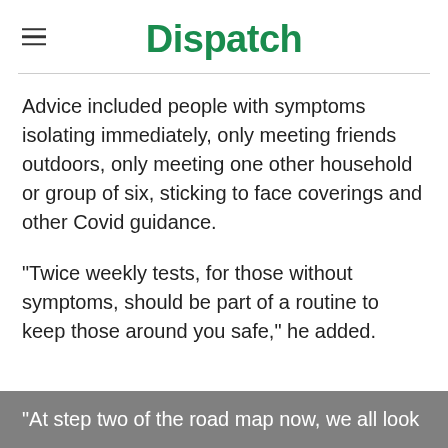Dispatch
Advice included people with symptoms isolating immediately, only meeting friends outdoors, only meeting one other household or group of six, sticking to face coverings and other Covid guidance.
"Twice weekly tests, for those without symptoms, should be part of a routine to keep those around you safe," he added.
"At step two of the road map now, we all look